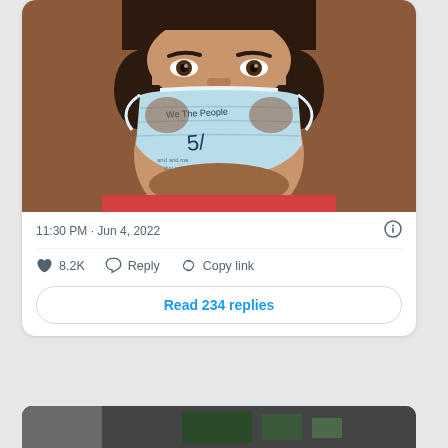[Figure (photo): Close-up photo of a bearded man wearing a blue surgical/disposable face mask with handwritten text on it reading 'We The People' and other writing]
11:30 PM · Jun 4, 2022
8.2K   Reply   Copy link
Read 234 replies
[Figure (photo): Bottom portion of another photo card, partially visible]